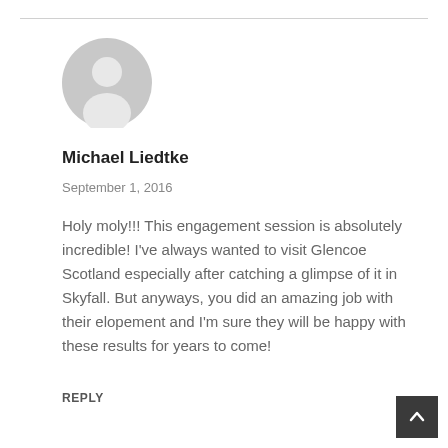[Figure (illustration): Generic grey user avatar icon — circle with person silhouette]
Michael Liedtke
September 1, 2016
Holy moly!!! This engagement session is absolutely incredible! I've always wanted to visit Glencoe Scotland especially after catching a glimpse of it in Skyfall. But anyways, you did an amazing job with their elopement and I'm sure they will be happy with these results for years to come!
REPLY